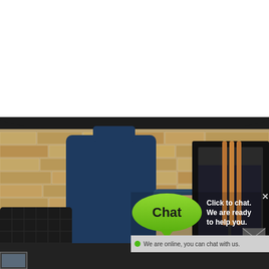[Figure (photo): A person in a dark navy blue short-sleeve shirt standing in front of a brick fireplace, working on the fireplace. The fireplace has a black arch/surround, fireplace tools (copper/brass), and black metal screens. The top portion of the image is white (cut off). A curved black arch bar is visible at the top of the fireplace interior.]
[Figure (screenshot): A live chat widget overlay on the bottom right of the image. It shows a green rounded chat bubble with the word 'Chat' in bold black text, a callout triangle pointing downward, and text to the right reading 'Click to chat. We are ready to help you.' with an X close button. Below is a grey bar with a green online dot and text 'We are online, you can chat with us.' An email/envelope icon is also visible.]